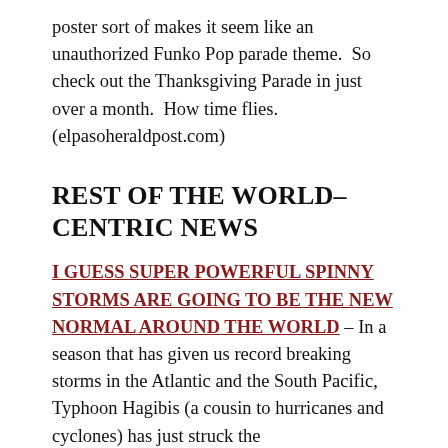poster sort of makes it seem like an unauthorized Funko Pop parade theme.  So check out the Thanksgiving Parade in just over a month.  How time flies. (elpasoheraldpost.com)
REST OF THE WORLD–CENTRIC NEWS
I GUESS SUPER POWERFUL SPINNY STORMS ARE GOING TO BE THE NEW NORMAL AROUND THE WORLD – In a season that has given us record breaking storms in the Atlantic and the South Pacific, Typhoon Hagibis (a cousin to hurricanes and cyclones) has just struck the